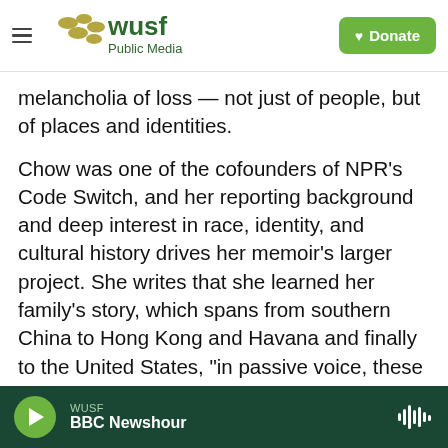[Figure (logo): WUSF Public Media logo with hamburger menu on the left and a green Donate button on the right]
melancholia of loss — not just of people, but of places and identities.
Chow was one of the cofounders of NPR's Code Switch, and her reporting background and deep interest in race, identity, and cultural history drives her memoir's larger project. She writes that she learned her family's story, which spans from southern China to Hong Kong and Havana and finally to the United States, "in passive voice, these events falling from the sky...revealing so many holes that I would need to fill, might not ever be able to fill." In writing about her mother's life and
WUSF BBC Newshour